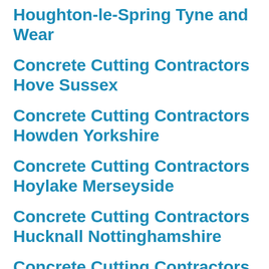Houghton-le-Spring Tyne and Wear
Concrete Cutting Contractors Hove Sussex
Concrete Cutting Contractors Howden Yorkshire
Concrete Cutting Contractors Hoylake Merseyside
Concrete Cutting Contractors Hucknall Nottinghamshire
Concrete Cutting Contractors Huddersfield Yorkshire
Concrete Cutting Contractors